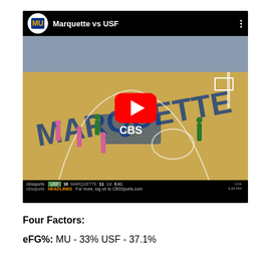[Figure (screenshot): YouTube video embed showing a Marquette vs USF basketball game being played at Marquette's court, with a YouTube play button overlay and a CBS Sports scoreboard at the bottom showing USF 16, Marquette 11, 1st half.]
Four Factors:
eFG%: MU - 33% USF - 37.1%